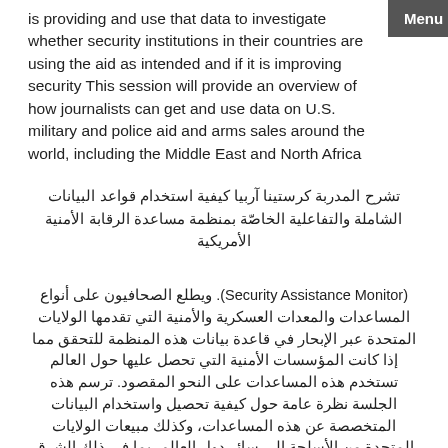is providing and use that data to investigate whether security institutions in their countries are using the aid as intended and if it is improving security This session will provide an overview of how journalists can get and use data on U.S. military and police aid and arms sales around the world, including the Middle East and North Africa
تشرح المدربة كرستينا آربيا كيفية استخدام قواعد البيانات الشاملة والتفاعلية الخاصّة بمنظمة مساعدة الرقابة الأمنية الأمريكية
(Security Assistance Monitor). ويطلع الصحافيون على أنواع المساعدات والمعدات العسكرية والأمنية التي تقدمها الولايات المتحدة عبر الإبحار في قاعدة بيانات هذه المنظمة للتحقق مما إذا كانت المؤسسات الأمنية التي تحصل عليها حول العالم تستخدم هذه المساعدات على النحو المقصود. ترسم هذه الجلسة نظرة عامة حول كيفية تحصيل واستخدام البيانات المتخصصة عن هذه المساعدات، وكذلك مبيعات الولايات المتحدة من الأسلحة إلى سائر دول العالم، بما في ذلك الشرق الأوسط وشمال أفريقيا.